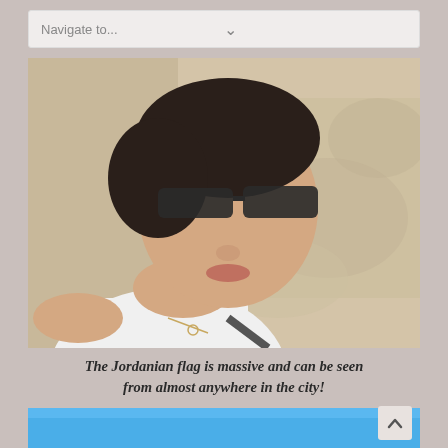Navigate to...
[Figure (photo): A woman wearing sunglasses and a white sleeveless top taking a selfie with a sandy desert/archaeological site background]
The Jordanian flag is massive and can be seen from almost anywhere in the city!
[Figure (photo): Blue sky, partial view of a tall flagpole with what appears to be a large Jordanian flag]